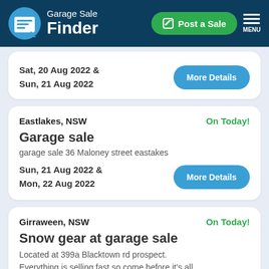Garage Sale Finder — Post a Sale — MENU
Sat, 20 Aug 2022 & Sun, 21 Aug 2022 — More Details
Eastlakes, NSW — On Today!
Garage sale
garage sale 36 Maloney street eastakes
Sun, 21 Aug 2022 & Mon, 22 Aug 2022 — More Details
Girraween, NSW — On Today!
Snow gear at garage sale
Located at 399a Blacktown rd prospect. Everything is selling fast so come before it's all gone. Moving interstate everything needs a